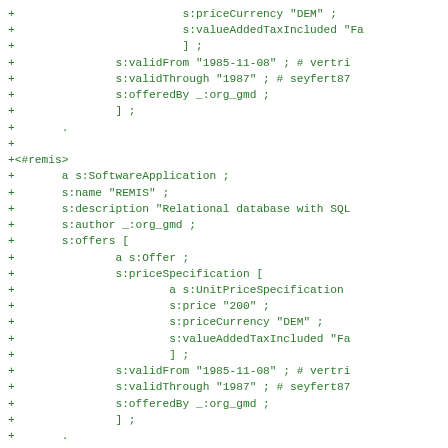+                         s:priceCurrency "DEM" ;
+                         s:valueAddedTaxIncluded "Fa
+                         ] ;
+               s:validFrom "1985-11-08" ; # vertri
+               s:validThrough "1987" ; # seyfert87
+               s:offeredBy _:org_gmd ;
+               ] ;
+       .
+
+<#remis>
+       a s:SoftwareApplication ;
+       s:name "REMIS" ;
+       s:description "Relational database with SQL
+       s:author _:org_gmd ;
+       s:offers [
+               a s:Offer ;
+               s:priceSpecification [
+                       a s:UnitPriceSpecification
+                       s:price "200" ;
+                       s:priceCurrency "DEM" ;
+                       s:valueAddedTaxIncluded "Fa
+                       ] ;
+               s:validFrom "1985-11-08" ; # vertri
+               s:validThrough "1987" ; # seyfert87
+               s:offeredBy _:org_gmd ;
+               ] ;
+       .
+
+<#baisy>
+       a s:SoftwareApplication ;